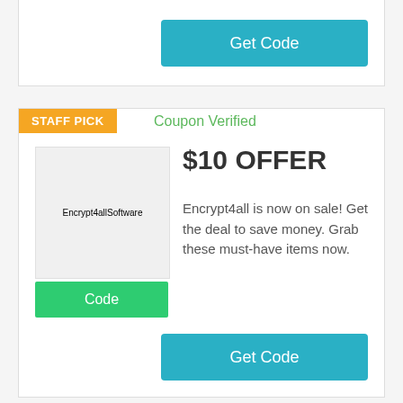[Figure (other): Get Code button (teal) at top of page, partial card]
STAFF PICK
Coupon Verified
$10 OFFER
[Figure (logo): Encrypt4all Software logo placeholder]
Code
Encrypt4all is now on sale! Get the deal to save money. Grab these must-have items now.
Get Code
STAFF PICK
Coupon Verified
$150 OFFER